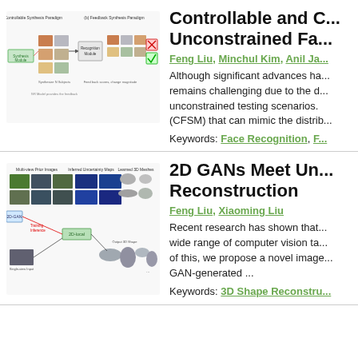[Figure (schematic): Diagram of Controllable Synthesis Paradigm and Feedback Synthesis Paradigm for face recognition, showing face images and a Recognition Module with arrows.]
Controllable and Unconstrained Fa...
Feng Liu, Minchul Kim, Anil Ja...
Although significant advances ha... remains challenging due to the d... unconstrained testing scenarios. (CFSM) that can mimic the distrib...
Keywords: Face Recognition, F...
[Figure (schematic): Diagram of 2D GANs for 3D shape reconstruction showing multi-view prior images, inferred uncertainty maps, learned 3D meshes, and a 2D-local module with single-view input and output 3D shapes.]
2D GANs Meet Un... Reconstruction
Feng Liu, Xiaoming Liu
Recent research has shown that... wide range of computer vision ta... of this, we propose a novel image... GAN-generated ...
Keywords: 3D Shape Reconstru...